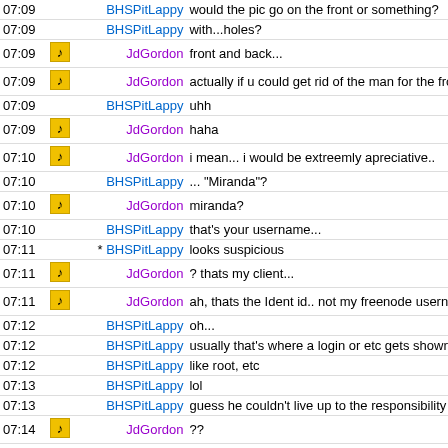| time | icon | nick | message |
| --- | --- | --- | --- |
| 07:09 |  | BHSPitLappy | would the pic go on the front or something? |
| 07:09 |  | BHSPitLappy | with...holes? |
| 07:09 | icon | JdGordon | front and back... |
| 07:09 | icon | JdGordon | actually if u could get rid of the man for the front id be willin |
| 07:09 |  | BHSPitLappy | uhh |
| 07:09 | icon | JdGordon | haha |
| 07:10 | icon | JdGordon | i mean... i would be extreemly apreciative.. |
| 07:10 |  | BHSPitLappy | ... "Miranda"? |
| 07:10 | icon | JdGordon | miranda? |
| 07:10 |  | BHSPitLappy | that's your username... |
| 07:11 |  | * BHSPitLappy | looks suspicious |
| 07:11 | icon | JdGordon | ? thats my client... |
| 07:11 | icon | JdGordon | ah, thats the Ident id.. not my freenode username |
| 07:12 |  | BHSPitLappy | oh... |
| 07:12 |  | BHSPitLappy | usually that's where a login or etc gets shown |
| 07:12 |  | BHSPitLappy | like root, etc |
| 07:13 |  | BHSPitLappy | lol |
| 07:13 |  | BHSPitLappy | guess he couldn't live up to the responsibility he took on |
| 07:14 | icon | JdGordon | ?? |
| 07:14 |  | BHSPitLappy | he said he'd make it |
| 07:14 |  | BHSPitLappy | then /quit. |
| 07:14 | icon | JdGordon | ah |
| 07:14 | icon | JdGordon | :D |